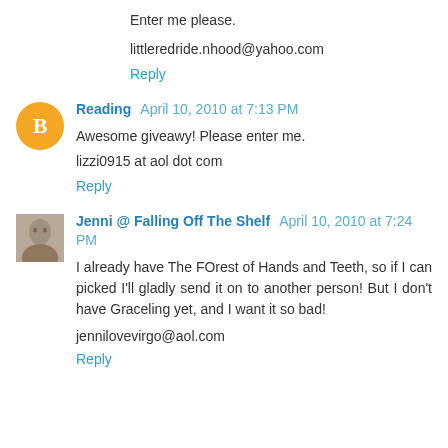Enter me please.
littleredride.nhood@yahoo.com
Reply
Reading  April 10, 2010 at 7:13 PM
Awesome giveawy! Please enter me.
lizzi0915 at aol dot com
Reply
Jenni @ Falling Off The Shelf  April 10, 2010 at 7:24 PM
I already have The FOrest of Hands and Teeth, so if I can picked I'll gladly send it on to another person! But I don't have Graceling yet, and I want it so bad!
jennilovevirgo@aol.com
Reply